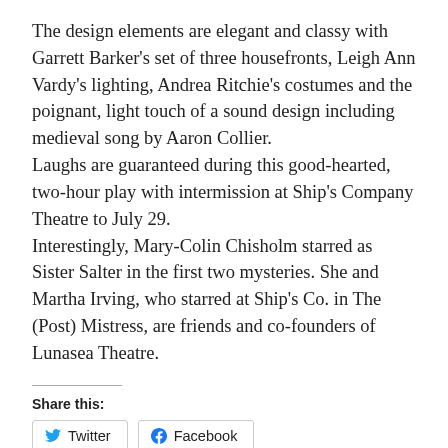The design elements are elegant and classy with Garrett Barker's set of three housefronts, Leigh Ann Vardy's lighting, Andrea Ritchie's costumes and the poignant, light touch of a sound design including medieval song by Aaron Collier.
Laughs are guaranteed during this good-hearted, two-hour play with intermission at Ship's Company Theatre to July 29.
Interestingly, Mary-Colin Chisholm starred as Sister Salter in the first two mysteries. She and Martha Irving, who starred at Ship's Co. in The (Post) Mistress, are friends and co-founders of Lunasea Theatre.
Share this:
Twitter
Facebook
Loading...